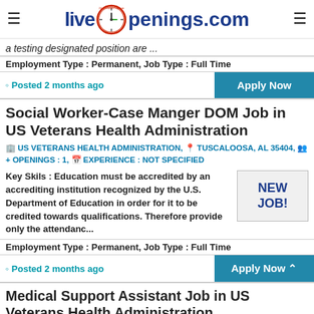LiveOpenings.com
a testing designated position are ...
Employment Type : Permanent, Job Type : Full Time
Posted 2 months ago
Apply Now
Social Worker-Case Manger DOM Job in US Veterans Health Administration
US VETERANS HEALTH ADMINISTRATION, TUSCALOOSA, AL 35404, OPENINGS : 1, EXPERIENCE : NOT SPECIFIED
Key Skils : Education must be accredited by an accrediting institution recognized by the U.S. Department of Education in order for it to be credited towards qualifications. Therefore provide only the attendanc...
NEW JOB!
Employment Type : Permanent, Job Type : Full Time
Posted 2 months ago
Apply Now
Medical Support Assistant Job in US Veterans Health Administration